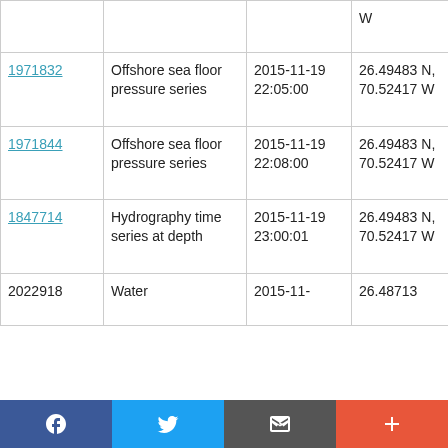| ID | Type | Date/Time | Location | Vessel |
| --- | --- | --- | --- | --- |
|  |  |  | W |  |
| 1971832 | Offshore sea floor pressure series | 2015-11-19 22:05:00 | 26.49483 N, 70.52417 W | RRS Discovery DY039 |
| 1971844 | Offshore sea floor pressure series | 2015-11-19 22:08:00 | 26.49483 N, 70.52417 W | RRS Discovery DY039 |
| 1847714 | Hydrography time series at depth | 2015-11-19 23:00:01 | 26.49483 N, 70.52417 W | RRS Discovery DY039 |
| 2022918 | Water... | 2015-11... | 26.48713... | RRS... |